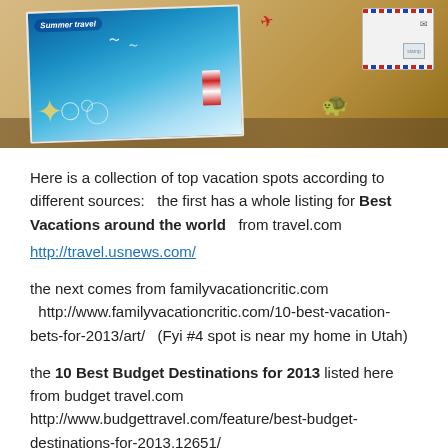[Figure (photo): Travel-themed photo collage showing a summer travel brochure with ocean/beach scene, starfish, seagulls, a map background, a toy sea turtle, and a decorative envelope with red/blue dashed border.]
Here is a collection of top vacation spots according to different sources:   the first has a whole listing for Best Vacations around the world   from travel.com
http://travel.usnews.com/
the next comes from familyvacationcritic.com   http://www.familyvacationcritic.com/10-best-vacation-bets-for-2013/art/   (Fyi #4 spot is near my home in Utah)
the 10 Best Budget Destinations for 2013 listed here from budget travel.com   http://www.budgettravel.com/feature/best-budget-destinations-for-2013,12651/